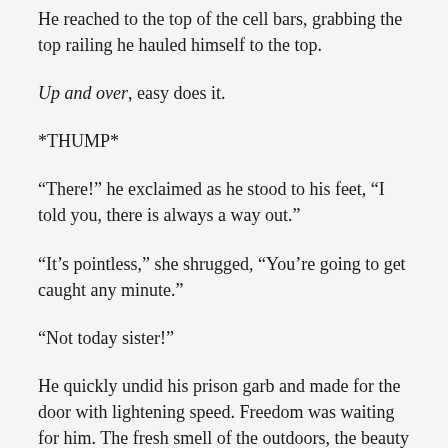He reached to the top of the cell bars, grabbing the top railing he hauled himself to the top.
Up and over, easy does it.
*THUMP*
“There!” he exclaimed as he stood to his feet, “I told you, there is always a way out.”
“It’s pointless,” she shrugged, “You’re going to get caught any minute.”
“Not today sister!”
He quickly undid his prison garb and made for the door with lightening speed. Freedom was waiting for him. The fresh smell of the outdoors, the beauty of the trees